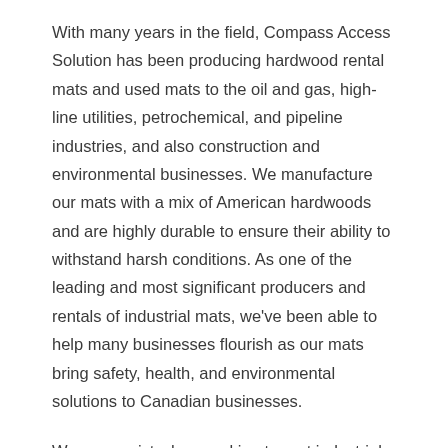With many years in the field, Compass Access Solution has been producing hardwood rental mats and used mats to the oil and gas, high-line utilities, petrochemical, and pipeline industries, and also construction and environmental businesses. We manufacture our mats with a mix of American hardwoods and are highly durable to ensure their ability to withstand harsh conditions. As one of the leading and most significant producers and rentals of industrial mats, we've been able to help many businesses flourish as our mats bring safety, health, and environmental solutions to Canadian businesses.
We can assist when seeking to rent industrial mats in determining the appropriate type and size of mat that best suits your project, the total amount of mats needed, and schedule delivery to your job site. Our service also extends to professional mat installation around the globe. With a vast knowledge and experience gathered over the years,